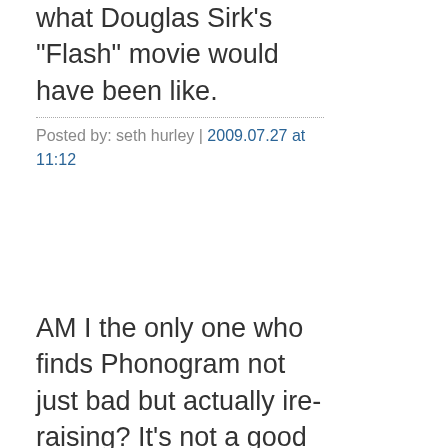what Douglas Sirk's "Flash" movie would have been like.
Posted by: seth hurley | 2009.07.27 at 11:12
AM I the only one who finds Phonogram not just bad but actually ire-raising? It's not a good thing if you think the book would be 100x better if the Punisher came in the front door and shot everyone involved point blank in the face multiple times, is it? Because that's been